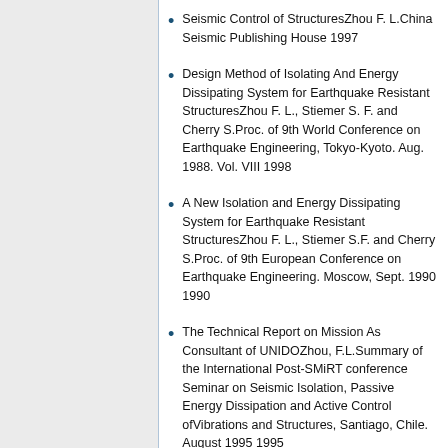Seismic Control of StructuresZhou F. L.China Seismic Publishing House 1997
Design Method of Isolating And Energy Dissipating System for Earthquake Resistant StructuresZhou F. L., Stiemer S. F. and Cherry S.Proc. of 9th World Conference on Earthquake Engineering, Tokyo-Kyoto. Aug. 1988. Vol. VIII 1998
A New Isolation and Energy Dissipating System for Earthquake Resistant StructuresZhou F. L., Stiemer S.F. and Cherry S.Proc. of 9th European Conference on Earthquake Engineering. Moscow, Sept. 1990 1990
The Technical Report on Mission As Consultant of UNIDOZhou, F.L.Summary of the International Post-SMiRT conference Seminar on Seismic Isolation, Passive Energy Dissipation and Active Control ofVibrations and Structures, Santiago, Chile. August 1995 1995